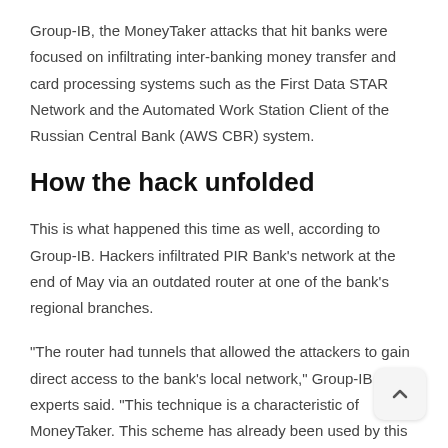Group-IB, the MoneyTaker attacks that hit banks were focused on infiltrating inter-banking money transfer and card processing systems such as the First Data STAR Network and the Automated Work Station Client of the Russian Central Bank (AWS CBR) system.
How the hack unfolded
This is what happened this time as well, according to Group-IB. Hackers infiltrated PIR Bank’s network at the end of May via an outdated router at one of the bank’s regional branches.
“The router had tunnels that allowed the attackers to gain direct access to the bank’s local network,” Group-IB experts said. “This technique is a characteristic of MoneyTaker. This scheme has already been used by this group at least three times while attacking banks with regional branch networks.”
Hackers then used the router to infect the bank’s local network